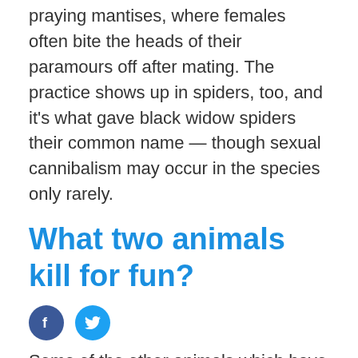The most commonly known example might be praying mantises, where females often bite the heads of their paramours off after mating. The practice shows up in spiders, too, and it's what gave black widow spiders their common name — though sexual cannibalism may occur in the species only rarely.
What two animals kill for fun?
[Figure (other): Facebook and Twitter social share icons]
Some of the other animals which have been observed engaging in surplus killing include orcas, zooplankton, humans, damselfly naiads, predaceous mites, martens, weasels, honey badgers, jaguar, leopards, lions, spiders, brown